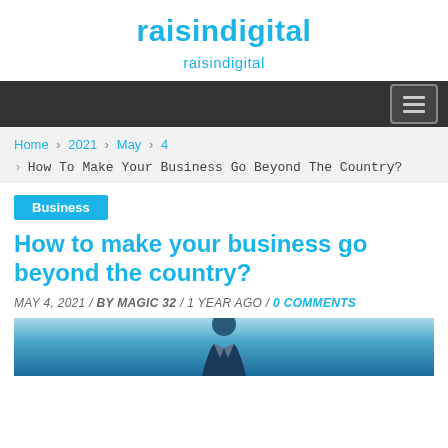raisindigital
raisindigital
Home > 2021 > May > 4
> How To Make Your Business Go Beyond The Country?
Business
How to make your business go beyond the country?
MAY 4, 2021 / BY MAGIC 32 / 1 YEAR AGO / 0 COMMENTS
[Figure (photo): Photo of a person in a business suit, cropped to show torso/neck area against a blue background]